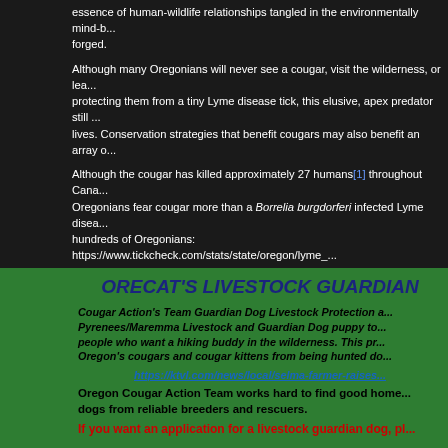essence of human-wildlife relationships tangled in the environmentally mind-b... forged.
Although many Oregonians will never see a cougar, visit the wilderness, or lea... protecting them from a tiny Lyme disease tick, this elusive, apex predator still ... lives. Conservation strategies that benefit cougars may also benefit an array o...
Although the cougar has killed approximately 27 humans[1] throughout Cana... Oregonians fear cougar more than a Borrelia burgdorferi infected Lyme disea... hundreds of Oregonians: https://www.tickcheck.com/stats/state/oregon/lyme_...
[1] http://tchester.org/sgm/lists/lion_attacks.html
[2] https://olis.leg.state.or.us/liz/2015R1/Downloads/CommitteeMeetingDocum...
ORECAT'S LIVESTOCK GUARDIAN
Cougar Action's Team Guardian Dog Livestock Protection a... Pyrenees/Maremma Livestock and Guardian Dog puppy to... people who want a hiking buddy in the wilderness. This pr... Oregon's cougars and cougar kittens from being hunted do...
https://ktvl.com/news/local/selma-farmer-raises...
Oregon Cougar Action Team works hard to find good home... dogs from reliable breeders and rescuers.
If you want an application for a livestock guardian dog, pl...